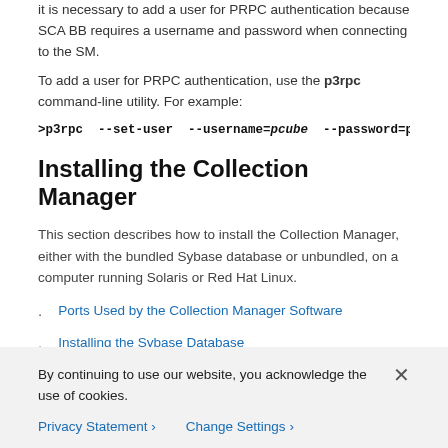it is necessary to add a user for PRPC authentication because SCA BB requires a username and password when connecting to the SM.
To add a user for PRPC authentication, use the p3rpc command-line utility. For example:
>p3rpc --set-user --username=pcube --password=p
Installing the Collection Manager
This section describes how to install the Collection Manager, either with the bundled Sybase database or unbundled, on a computer running Solaris or Red Hat Linux.
Ports Used by the Collection Manager Software
Installing the Sybase Database
Installing Collection Manager Software
...
By continuing to use our website, you acknowledge the use of cookies.
Privacy Statement  Change Settings